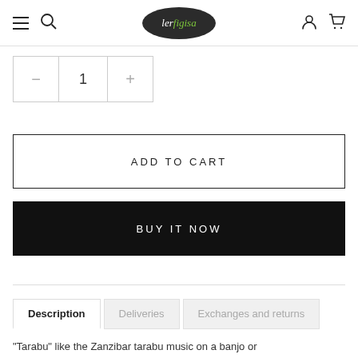ler figisa — navigation header with hamburger menu, search, logo, account and cart icons
1 (quantity selector with minus and plus buttons)
ADD TO CART
BUY IT NOW
Description | Deliveries | Exchanges and returns
"Tarabu" like the Zanzibar tarabu music on a banjo or